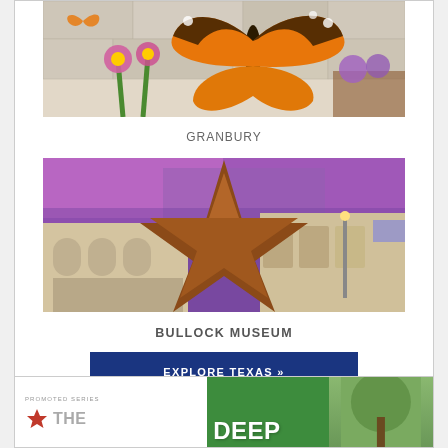[Figure (photo): Mural on a stone wall depicting a large monarch butterfly with orange and black wings, pink flowers with green stems, and smaller butterflies. Colorful plants and a pumpkin visible in the foreground.]
GRANBURY
[Figure (photo): Exterior of the Bullock Museum with a large copper star sculpture in the foreground against a dramatic purple and pink cloudy sky. The curved building facade with arched windows is visible behind the star.]
BULLOCK MUSEUM
EXPLORE TEXAS »
[Figure (other): Advertisement: PROMOTED SERIES. The Star logo with red star icon on left side; green banner with DEEP text on right side; photo of trees/nature on far right.]